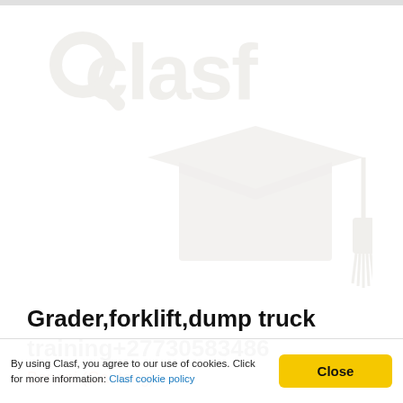[Figure (logo): Clasf logo with graduation cap icon, large watermark-style gray image centered on page]
Grader,forklift,dump truck training+27730583486
Benoni (Gauteng)
By using Clasf, you agree to our use of cookies. Click for more information: Clasf cookie policy